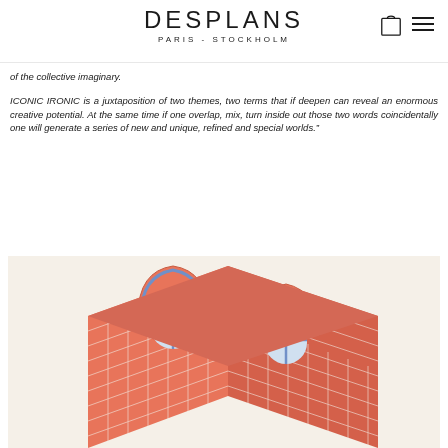DESPLANS PARIS - STOCKHOLM
of the collective imaginary.
ICONIC IRONIC is a juxtaposition of two themes, two terms that if deepen can reveal an enormous creative potential. At the same time if one overlap, mix, turn inside out those two words coincidentally one will generate a series of new and unique, refined and special worlds.”
[Figure (illustration): Isometric illustration of a brick building facade with arched windows in coral/salmon color with blue window frames, on a cream background]